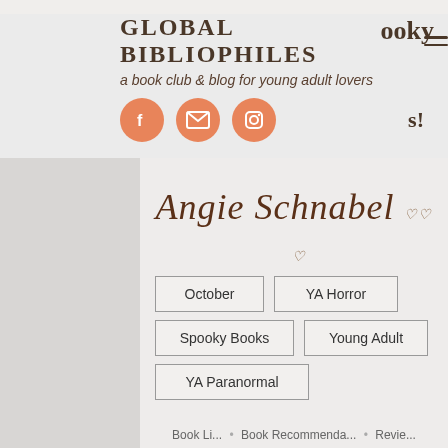ooky
GLOBAL BIBLIOPHILES
a book club & blog for young adult lovers
[Figure (illustration): Three social media icons (Facebook, email/envelope, Instagram) as orange circles, and partial text 's!']
Angie Schnabel
October
YA Horror
Spooky Books
Young Adult
YA Paranormal
Book Li... • Book Recommenda... • Revie...